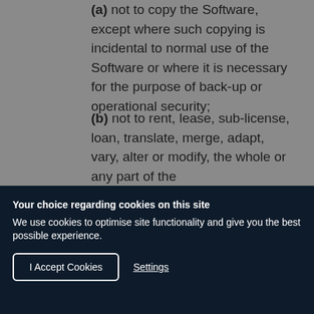(a) not to copy the Software, except where such copying is incidental to normal use of the Software or where it is necessary for the purpose of back-up or operational security;
(b) not to rent, lease, sub-license, loan, translate, merge, adapt, vary, alter or modify, the whole or any part of the
Your choice regarding cookies on this site
We use cookies to optimise site functionality and give you the best possible experience.
I Accept Cookies   Settings